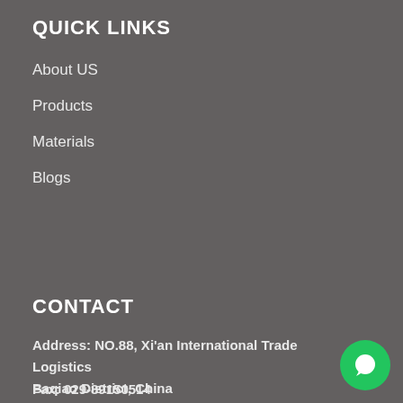QUICK LINKS
About US
Products
Materials
Blogs
CONTACT
Address: NO.88, Xi'an International Trade Logistics Baqiao District, China
Fax: 029-89150514